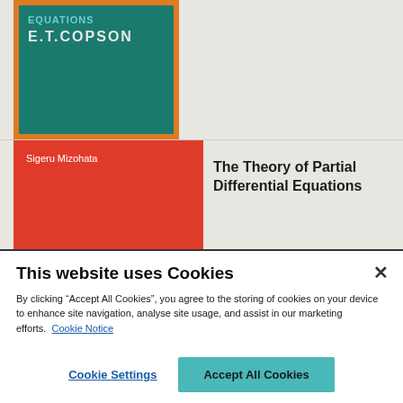[Figure (illustration): Book cover for E.T. Copson's partial differential equations textbook. Orange border with dark teal interior showing author name E.T.COPSON in large white bold letters and a partial title in teal above.]
[Figure (illustration): Book cover for Sigeru Mizohata's 'The Theory of Partial Differential Equations'. Red/orange cover with white author name text.]
The Theory of Partial Differential Equations
This website uses Cookies
By clicking "Accept All Cookies", you agree to the storing of cookies on your device to enhance site navigation, analyse site usage, and assist in our marketing efforts.  Cookie Notice
Cookie Settings
Accept All Cookies